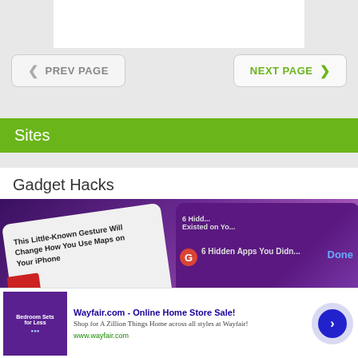[Figure (screenshot): White bar at top of page, navigation area]
< PREV PAGE
NEXT PAGE >
Sites
Gadget Hacks
[Figure (screenshot): Screenshot of Gadget Hacks website showing phone screen with articles: 'This Little-Known Gesture Will Change How You Use Maps on Your iPhone' and '6 Hidden Apps You Didn't Know Existed on Your iPhone', with 'Done' button visible]
[Figure (screenshot): Wayfair.com advertisement: 'Wayfair.com - Online Home Store Sale! Shop for A Zillion Things Home across all styles at Wayfair! www.wayfair.com' with bedroom image and next arrow button]